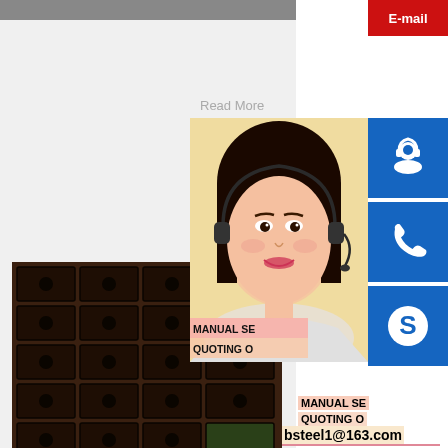[Figure (photo): Top portion of a steel product listing card with a product image (partially visible at top) and gray background area below.]
Read More
[Figure (photo): Photo of stacked steel plates/brackets with holes, dark rusty brown color, arranged in rows on a warehouse floor.]
H
MANUAL SE
QUOTING O
bsteel1@163.com
Read More
[Figure (photo): Customer service representative (Asian woman with headset) photo overlay with blue icon buttons for chat, phone, and Skype on the right sidebar, plus red E-mail button at top.]
China Ss400b S